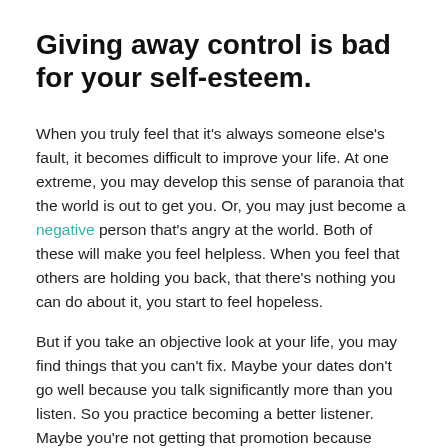Giving away control is bad for your self-esteem.
When you truly feel that it's always someone else's fault, it becomes difficult to improve your life. At one extreme, you may develop this sense of paranoia that the world is out to get you. Or, you may just become a negative person that's angry at the world. Both of these will make you feel helpless. When you feel that others are holding you back, that there's nothing you can do about it, you start to feel hopeless.
But if you take an objective look at your life, you may find things that you can't fix. Maybe your dates don't go well because you talk significantly more than you listen. So you practice becoming a better listener. Maybe you're not getting that promotion because you're just doing the bare